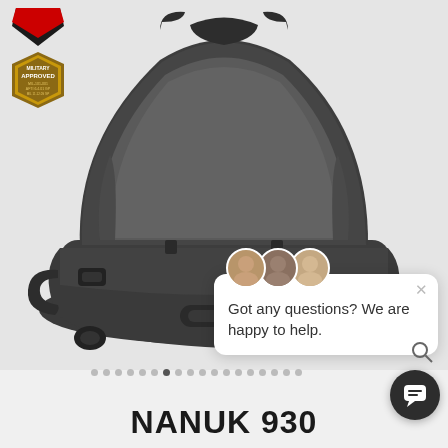[Figure (photo): Open dark grey/graphite NANUK 930 hard case with lid open, showing empty interior, photographed from a slight angle. The case has latches and a handle visible.]
[Figure (logo): Military Approved badge - gold/black pentagon or shield shape with text: MILITARY APPROVED, with additional regulatory text beneath]
[Figure (screenshot): Live chat popup widget showing three customer service representative avatars and text: Got any questions? We are happy to help. With an X close button and a dark chat button with speech bubble icon.]
NANUK 930